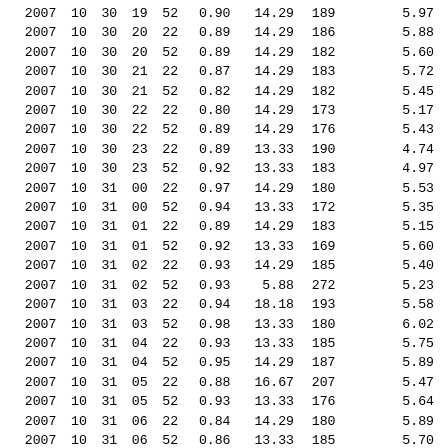| 2007 | 10 | 30 | 19 | 52 | 0.90 | 14.29 | 189 |  | 5.97 |
| 2007 | 10 | 30 | 20 | 22 | 0.89 | 14.29 | 186 |  | 5.88 |
| 2007 | 10 | 30 | 20 | 52 | 0.89 | 14.29 | 182 |  | 5.60 |
| 2007 | 10 | 30 | 21 | 22 | 0.87 | 14.29 | 183 |  | 5.72 |
| 2007 | 10 | 30 | 21 | 52 | 0.82 | 14.29 | 182 |  | 5.45 |
| 2007 | 10 | 30 | 22 | 22 | 0.80 | 14.29 | 173 |  | 5.17 |
| 2007 | 10 | 30 | 22 | 52 | 0.89 | 14.29 | 176 |  | 5.43 |
| 2007 | 10 | 30 | 23 | 22 | 0.89 | 13.33 | 190 |  | 4.74 |
| 2007 | 10 | 30 | 23 | 52 | 0.92 | 13.33 | 183 |  | 4.97 |
| 2007 | 10 | 31 | 00 | 22 | 0.97 | 14.29 | 180 |  | 5.53 |
| 2007 | 10 | 31 | 00 | 52 | 0.94 | 13.33 | 172 |  | 5.35 |
| 2007 | 10 | 31 | 01 | 22 | 0.89 | 14.29 | 183 |  | 5.15 |
| 2007 | 10 | 31 | 01 | 52 | 0.92 | 13.33 | 169 |  | 5.60 |
| 2007 | 10 | 31 | 02 | 22 | 0.93 | 14.29 | 185 |  | 5.40 |
| 2007 | 10 | 31 | 02 | 52 | 0.93 |  5.88 | 272 |  | 5.23 |
| 2007 | 10 | 31 | 03 | 22 | 0.94 | 18.18 | 193 |  | 5.58 |
| 2007 | 10 | 31 | 03 | 52 | 0.98 | 13.33 | 180 |  | 6.02 |
| 2007 | 10 | 31 | 04 | 22 | 0.93 | 13.33 | 185 |  | 5.75 |
| 2007 | 10 | 31 | 04 | 52 | 0.95 | 14.29 | 187 |  | 5.89 |
| 2007 | 10 | 31 | 05 | 22 | 0.88 | 16.67 | 207 |  | 5.47 |
| 2007 | 10 | 31 | 05 | 52 | 0.93 | 13.33 | 176 |  | 5.64 |
| 2007 | 10 | 31 | 06 | 22 | 0.84 | 14.29 | 180 |  | 5.89 |
| 2007 | 10 | 31 | 06 | 52 | 0.86 | 13.33 | 185 |  | 5.70 |
| 2007 | 10 | 31 | 07 | 22 | 0.90 | 13.33 | 180 |  | 6.13 |
| 2007 | 10 | 31 | 07 | 52 | 0.81 | 12.50 | 178 |  | 5.89 |
| 2007 | 10 | 31 | 08 | 22 | 0.84 | 13.33 | 178 |  | 6.12 |
| 2007 | 10 | 31 | 08 | 52 | 0.82 | 13.33 | 185 |  | 5.95 |
| 2007 | 10 | 31 | 09 | 22 | 0.81 | 13.33 | 190 |  | 6.19 |
| 2007 | 10 | 31 | 09 | 52 | 0.74 | 14.29 | 190 |  | 6.19 |
| 2007 | 10 | 31 | 10 | 22 | 0.80 | 12.50 | 182 |  | 6.98 |